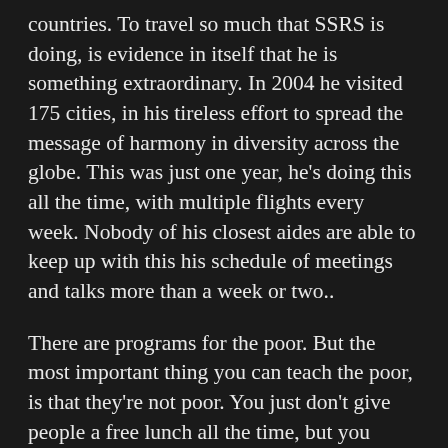countries. To travel so much that SSRS is doing, is evidence in itself that he is something extraordinary. In 2004 he visited 175 cities, in his tireless effort to spread the message of harmony in diversity across the globe. This was just one year, he's doing this all the time, with multiple flights every week. Nobody of his closest aides are able to keep up with this his schedule of meetings and talks more than a week or two..
There are programs for the poor. But the most important thing you can teach the poor, is that they're not poor. You just don't give people a free lunch all the time, but you encourage them to find solutions themselves,